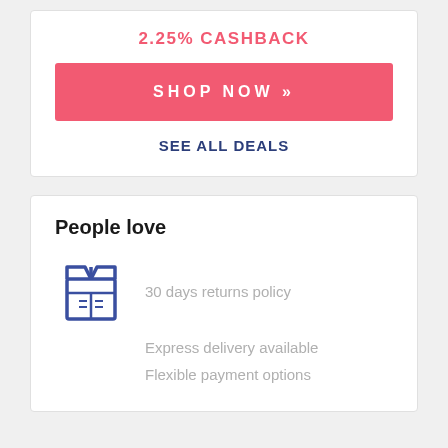2.25% CASHBACK
SHOP NOW »
SEE ALL DEALS
People love
[Figure (illustration): Blue outlined box/package icon]
30 days returns policy
Express delivery available
Flexible payment options